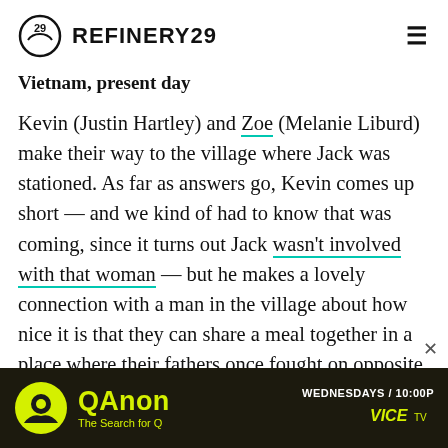REFINERY29
Vietnam, present day
Kevin (Justin Hartley) and Zoe (Melanie Liburd) make their way to the village where Jack was stationed. As far as answers go, Kevin comes up short — and we kind of had to know that was coming, since it turns out Jack wasn't involved with that woman — but he makes a lovely connection with a man in the village about how nice it is that they can share a meal together in a place where their fathers once fought on opposite sides of a very bloody war.
ADVERTISEMENT
[Figure (screenshot): QAnon - The Search for Q advertisement banner. Dark background with yellow-green logo and text. WEDNESDAYS / 10:00P, VICE TV branding.]